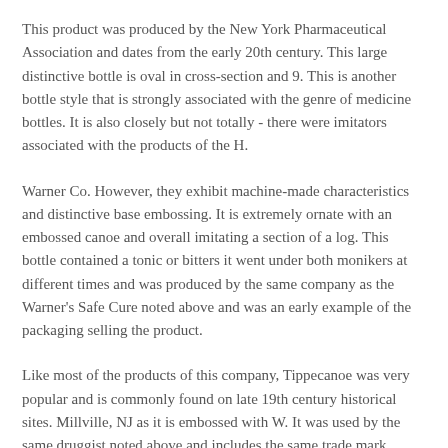This product was produced by the New York Pharmaceutical Association and dates from the early 20th century. This large distinctive bottle is oval in cross-section and 9. This is another bottle style that is strongly associated with the genre of medicine bottles. It is also closely but not totally - there were imitators associated with the products of the H.
Warner Co. However, they exhibit machine-made characteristics and distinctive base embossing. It is extremely ornate with an embossed canoe and overall imitating a section of a log. This bottle contained a tonic or bitters it went under both monikers at different times and was produced by the same company as the Warner's Safe Cure noted above and was an early example of the packaging selling the product.
Like most of the products of this company, Tippecanoe was very popular and is commonly found on late 19th century historical sites. Millville, NJ as it is embossed with W. It was used by the same druggist noted above and includes the same trade mark baby's face but is more of generic type bottle likely used for an assortment of Bl...